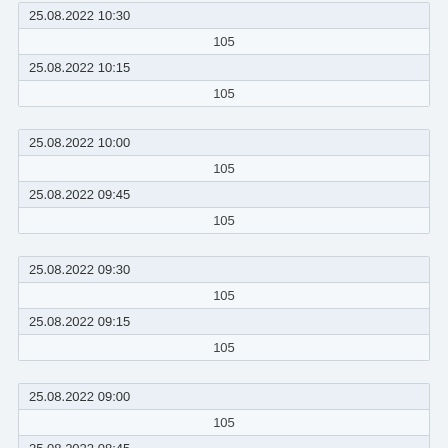| Datetime | Value |
| --- | --- |
| 25.08.2022 10:30 | 105 |
| 25.08.2022 10:15 | 105 |
| 25.08.2022 10:00 | 105 |
| 25.08.2022 09:45 | 105 |
| 25.08.2022 09:30 | 105 |
| 25.08.2022 09:15 | 105 |
| 25.08.2022 09:00 | 105 |
| 25.08.2022 08:45 | 105 |